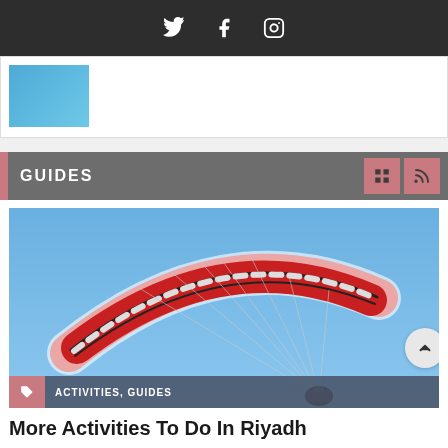Social media icons: Twitter, Facebook, Instagram
[Figure (screenshot): Previous article card with a blue thumbnail image]
GUIDES
[Figure (photo): Red and white paraglider soaring against a clear blue sky with a motorized harness visible below]
ACTIVITIES, GUIDES
More Activities To Do In Riyadh
Hello Riyadhizens! We're dropping by our website again for a once in